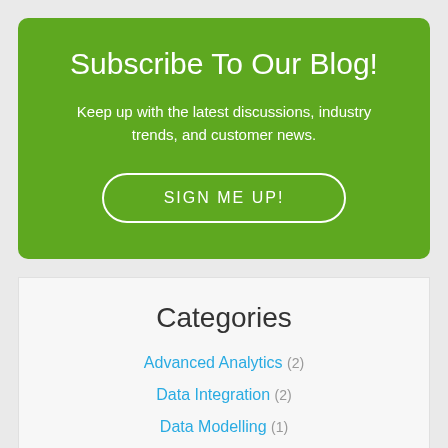Subscribe To Our Blog!
Keep up with the latest discussions, industry trends, and customer news.
SIGN ME UP!
Categories
Advanced Analytics (2)
Data Integration (2)
Data Modelling (1)
Data Warehouse (2)